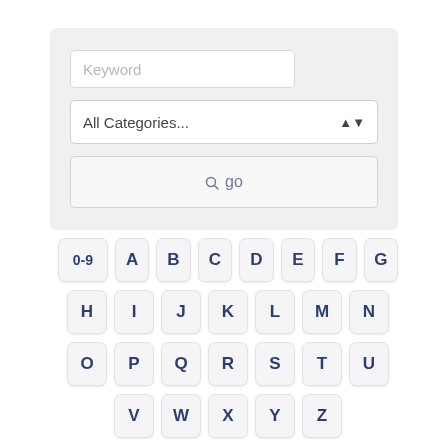[Figure (screenshot): Search interface with keyword input field, All Categories dropdown, and go button with search icon, followed by an alphabetical keyboard layout with keys 0-9, A through Z arranged in rows]
Keyword
All Categories...
go
0-9 A B C D E F G
H I J K L M N
O P Q R S T U
V W X Y Z